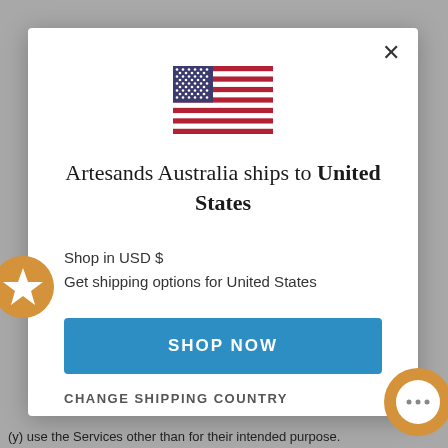[Figure (illustration): US flag emoji/illustration shown at top center of modal dialog]
Artesands Australia ships to United States
Shop in USD $
Get shipping options for United States
SHOP NOW
CHANGE SHIPPING COUNTRY
(y) use the Services other than for their intended purpose.